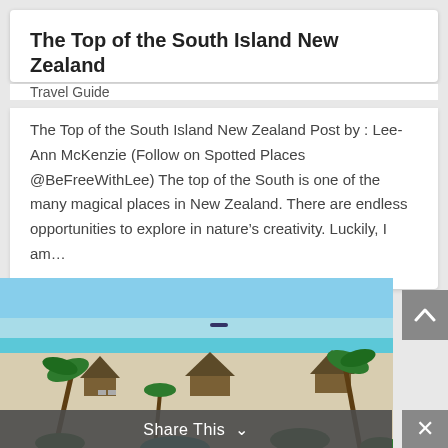The Top of the South Island New Zealand
Travel Guide
The Top of the South Island New Zealand Post by : Lee-Ann McKenzie (Follow on Spotted Places @BeFreeWithLee) The top of the South is one of the many magical places in New Zealand. There are endless opportunities to explore in nature’s creativity. Luckily, I am…
[Figure (photo): Aerial or elevated view of a tropical beach resort with thatched-roof huts, white sand, palm trees, and turquoise ocean water in the background.]